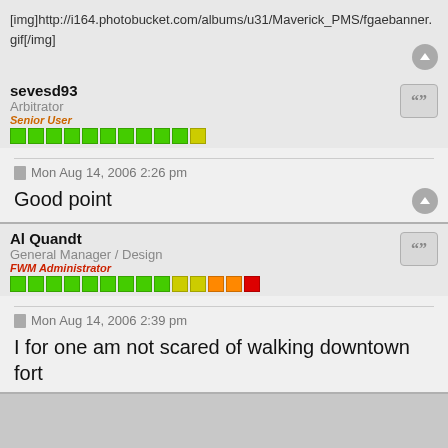[img]http://i164.photobucket.com/albums/u31/Maverick_PMS/fgaebanner.gif[/img]
sevesd93
Arbitrator
Senior User
Mon Aug 14, 2006 2:26 pm
Good point
Al Quandt
General Manager / Design
FWM Administrator
Mon Aug 14, 2006 2:39 pm
I for one am not scared of walking downtown fort